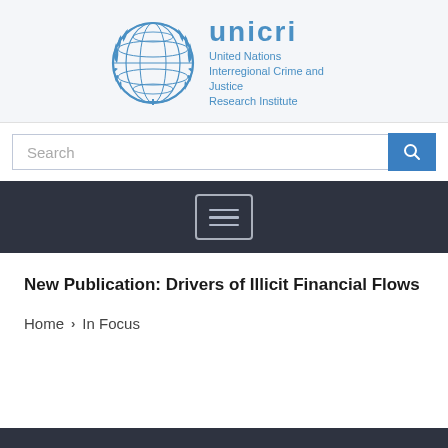[Figure (logo): UNICRI logo: United Nations emblem globe in blue with laurel wreath, alongside UNICRI wordmark and full name 'United Nations Interregional Crime and Justice Research Institute' in blue]
Search
[Figure (infographic): Dark navigation bar with hamburger menu icon (three horizontal lines inside a rounded rectangle border)]
New Publication: Drivers of Illicit Financial Flows
Home > In Focus